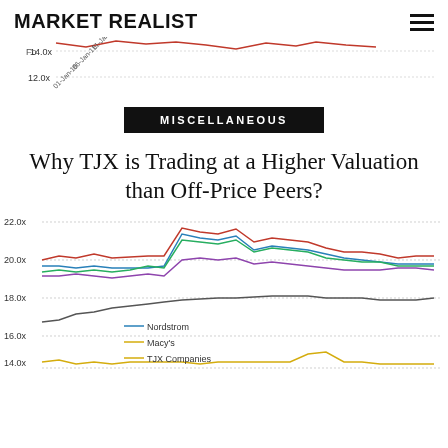MARKET REALIST
[Figure (continuous-plot): Top portion of a line chart showing forward price earnings ratio around 12.0x–14.0x, with dates from 01-Jan-16 to 21-Mar-16 on x-axis. A red line is partially visible at top. Y-axis label 'Fo' visible at left.]
MISCELLANEOUS
Why TJX is Trading at a Higher Valuation than Off-Price Peers?
[Figure (continuous-plot): Line chart showing Forward Price Earnings Ratio for multiple companies (Nordstrom, Macy's, TJX Companies, and others) from approximately Jan 2016 to Mar 2016. Y-axis ranges from about 14.0x to 22.0x. Multiple colored lines: red line highest around 20-22x, blue and green lines around 19-21x, purple line around 19-20x, dark gray line around 16-18x, gold/yellow line at bottom around 13-14x. Legend shows Nordstrom (blue), Macy's (gold), TJX Companies (gold/yellow).]